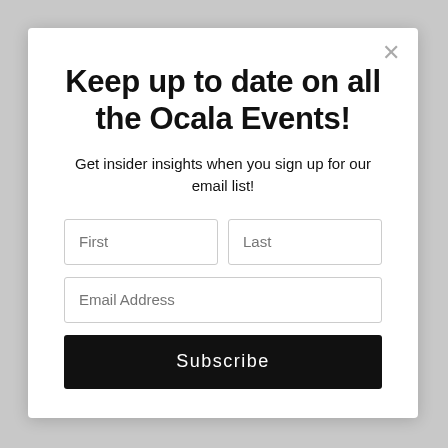Keep up to date on all the Ocala Events!
Get insider insights when you sign up for our email list!
[Figure (screenshot): Email signup form with First, Last, Email Address input fields and a Subscribe button]